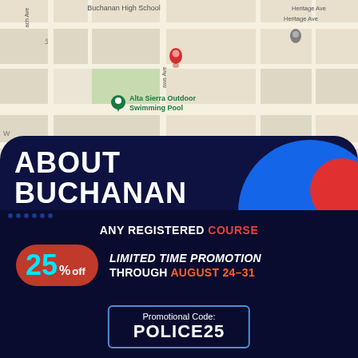[Figure (map): Google Maps screenshot showing Buchanan High School area with Alta Sierra Outdoor Swimming Pool marker, street grid including Heritage Ave, red location pin on Buchanan High School]
ABOUT BUCHANAN POLICE DEPARTMENT TEST
Buchanan Police Department has developed considerably over the past decade; a police department that has done much to modernise and provide innovative policing solutions
ANY REGISTERED COURSE
25% off LIMITED TIME PROMOTION THROUGH AUGUST 24–31
Promotional Code: POLICE25